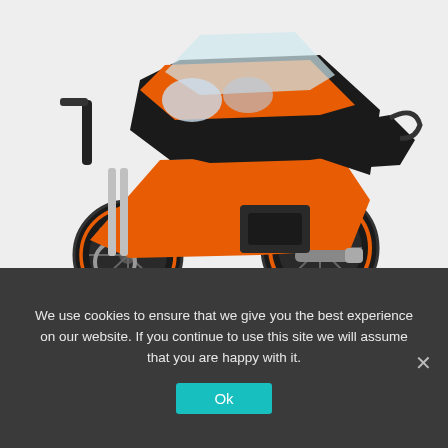[Figure (photo): Orange and black KTM RC 390 sport motorcycle on white background, three-quarter front view]
LATEST UPDATE
2022 KTM RC 390: Price of new KTM RC 390 leaked
We use cookies to ensure that we give you the best experience on our website. If you continue to use this site we will assume that you are happy with it.